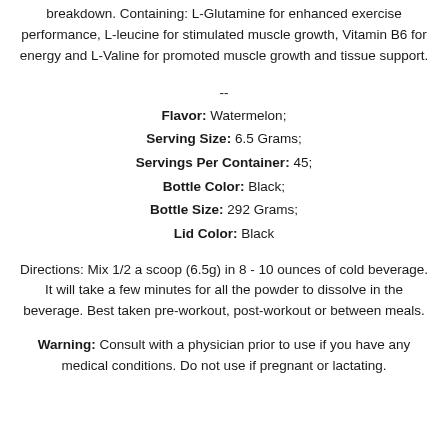breakdown. Containing: L-Glutamine for enhanced exercise performance, L-leucine for stimulated muscle growth, Vitamin B6 for energy and L-Valine for promoted muscle growth and tissue support.
--
Flavor: Watermelon; Serving Size: 6.5 Grams; Servings Per Container: 45; Bottle Color: Black; Bottle Size: 292 Grams; Lid Color: Black
Directions: Mix 1/2 a scoop (6.5g) in 8 - 10 ounces of cold beverage. It will take a few minutes for all the powder to dissolve in the beverage. Best taken pre-workout, post-workout or between meals.
Warning: Consult with a physician prior to use if you have any medical conditions. Do not use if pregnant or lactating.